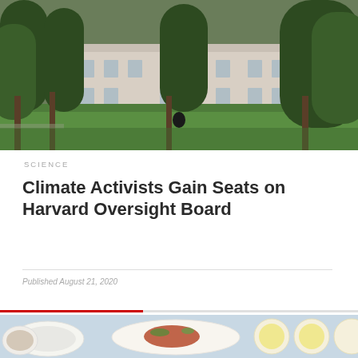[Figure (photo): Harvard campus quad with large trees, green lawn, a person sitting on the grass, and a white university building in the background.]
SCIENCE
Climate Activists Gain Seats on Harvard Oversight Board
Published August 21, 2020
[Figure (photo): Food photography showing a plate with salmon or fish fillet with garnishes and sliced vegetables on a light blue background.]